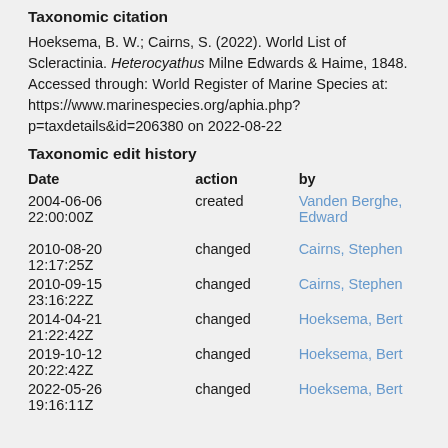Taxonomic citation
Hoeksema, B. W.; Cairns, S. (2022). World List of Scleractinia. Heterocyathus Milne Edwards & Haime, 1848. Accessed through: World Register of Marine Species at: https://www.marinespecies.org/aphia.php?p=taxdetails&id=206380 on 2022-08-22
Taxonomic edit history
| Date | action | by |
| --- | --- | --- |
| 2004-06-06 22:00:00Z | created | Vanden Berghe, Edward |
| 2010-08-20 12:17:25Z | changed | Cairns, Stephen |
| 2010-09-15 23:16:22Z | changed | Cairns, Stephen |
| 2014-04-21 21:22:42Z | changed | Hoeksema, Bert |
| 2019-10-12 20:22:42Z | changed | Hoeksema, Bert |
| 2022-05-26 19:16:11Z | changed | Hoeksema, Bert |